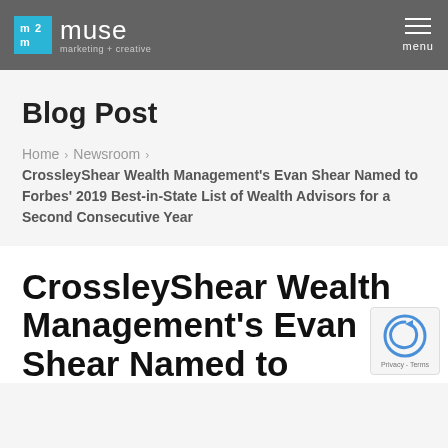muse marketing + creative — menu
Blog Post
Home > Newsroom > CrossleyShear Wealth Management's Evan Shear Named to Forbes' 2019 Best-in-State List of Wealth Advisors for a Second Consecutive Year
CrossleyShear Wealth Management's Evan Shear Named to